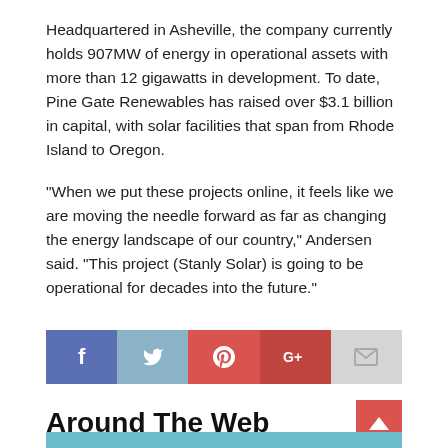Headquartered in Asheville, the company currently holds 907MW of energy in operational assets with more than 12 gigawatts in development. To date, Pine Gate Renewables has raised over $3.1 billion in capital, with solar facilities that span from Rhode Island to Oregon.
“When we put these projects online, it feels like we are moving the needle forward as far as changing the energy landscape of our country,” Andersen said. “This project (Stanly Solar) is going to be operational for decades into the future.”
[Figure (infographic): Social media sharing bar with Facebook, Twitter, Pinterest, Google+, and Email buttons]
Around The Web
[Figure (photo): Partial image strip visible at bottom of page]